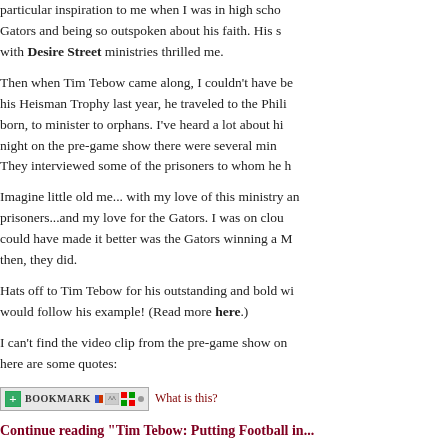particular inspiration to me when I was in high school. Gators and being so outspoken about his faith. His s... with Desire Street ministries thrilled me.
Then when Tim Tebow came along, I couldn't have be... his Heisman Trophy last year, he traveled to the Phili... born, to minister to orphans. I've heard a lot about hi... night on the pre-game show there were several min... They interviewed some of the prisoners to whom he h...
Imagine little old me... with my love of this ministry an... prisoners...and my love for the Gators. I was on clou... could have made it better was the Gators winning a M... then, they did.
Hats off to Tim Tebow for his outstanding and bold wi... would follow his example! (Read more here.)
I can't find the video clip from the pre-game show on... here are some quotes:
[Figure (other): Bookmark button with icons and 'What is this?' link]
Continue reading "Tim Tebow: Putting Football in..."
Posted by Catherine Larson on January 09, 2009 at 10:55 AM. Efforts, Inspiration, Religion & Society, Restorative Justice... Comments (6) | TrackBack (0)
JANUARY 06, 2009